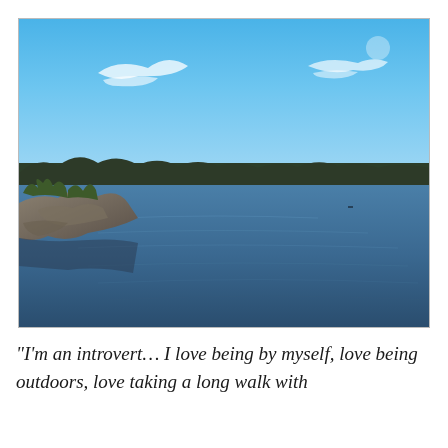[Figure (photo): Outdoor landscape photograph showing a calm lake or bay with dark blue water. Rocky shoreline with sparse trees and shrubs on the left side. A treeline of conifers stretches across the horizon in the background. Clear blue sky with wispy white clouds.]
“I’m an introvert… I love being by myself, love being outdoors, love taking a long walk with